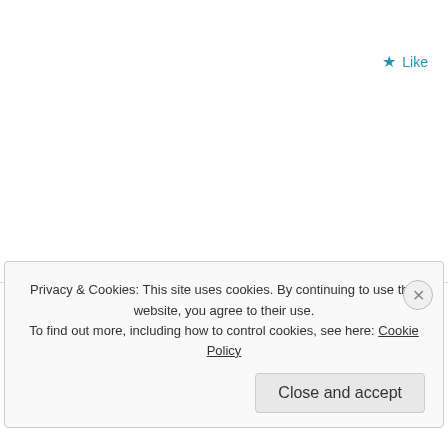★ Like
annelynn
June 7, 2016 at 10:38 pm
Thank you. Truly.
★ Like
Privacy & Cookies: This site uses cookies. By continuing to use this website, you agree to their use.
To find out more, including how to control cookies, see here: Cookie Policy
Close and accept